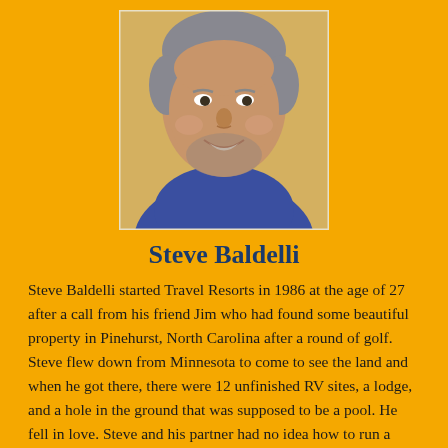[Figure (photo): Headshot photo of Steve Baldelli, a middle-aged man with short grey hair and a beard, smiling, wearing a dark blue polo shirt, photographed against a warm background.]
Steve Baldelli
Steve Baldelli started Travel Resorts in 1986 at the age of 27 after a call from his friend Jim who had found some beautiful property in Pinehurst, North Carolina after a round of golf. Steve flew down from Minnesota to come to see the land and when he got there, there were 12 unfinished RV sites, a lodge, and a hole in the ground that was supposed to be a pool. He fell in love. Steve and his partner had no idea how to run a campground, but he